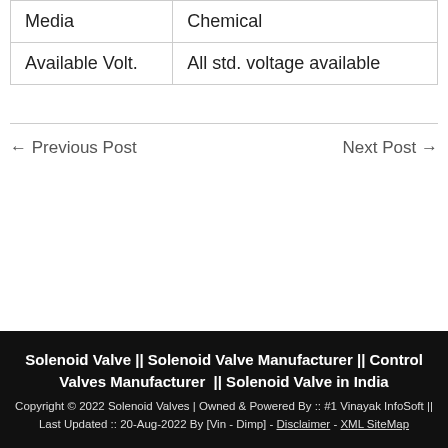| Media | Chemical |
| Available Volt. | All std. voltage available |
← Previous Post
Next Post →
Solenoid Valve || Solenoid Valve Manufacturer || Control Valves Manufacturer || Solenoid Valve in India
Copyright © 2022 Solenoid Valves | Owned & Powered By :: #1 Vinayak InfoSoft || Last Updated :: 20-Aug-2022 By [Vin - Dimp] - Disclaimer - XML SiteMap